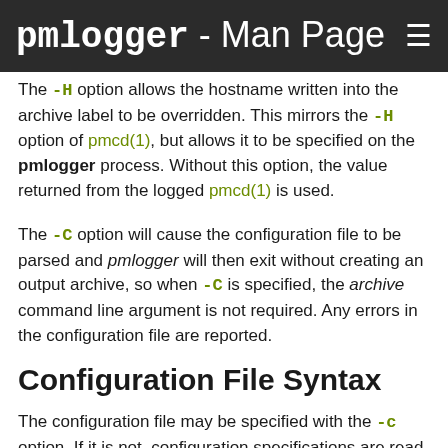pmlogger - Man Page
The -H option allows the hostname written into the archive label to be overridden. This mirrors the -H option of pmcd(1), but allows it to be specified on the pmlogger process. Without this option, the value returned from the logged pmcd(1) is used.
The -C option will cause the configuration file to be parsed and pmlogger will then exit without creating an output archive, so when -C is specified, the archive command line argument is not required. Any errors in the configuration file are reported.
Configuration File Syntax
The configuration file may be specified with the -c option. If it is not, configuration specifications are read from standard input.
If conffile does not exist, then a search is made in the directory $PCP_VAR_DIR/config/pmlogger for a file of the same name, and if found that file is used, e.g. if config.mumble does not exist in the current directory and